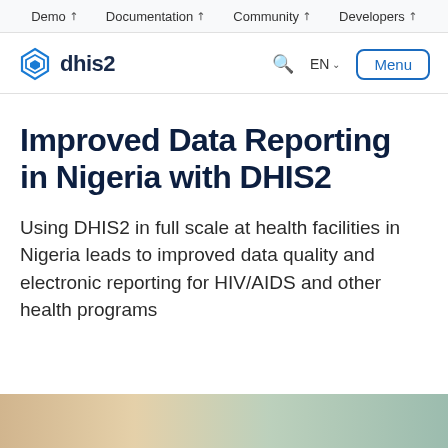Demo ↗  Documentation ↗  Community ↗  Developers ↗
[Figure (logo): DHIS2 logo with blue diamond/layers icon and 'dhis2' text, navigation bar with search, EN language selector, and Menu button]
Improved Data Reporting in Nigeria with DHIS2
Using DHIS2 in full scale at health facilities in Nigeria leads to improved data quality and electronic reporting for HIV/AIDS and other health programs
[Figure (photo): Partial bottom strip showing a photo, cropped at bottom of page]